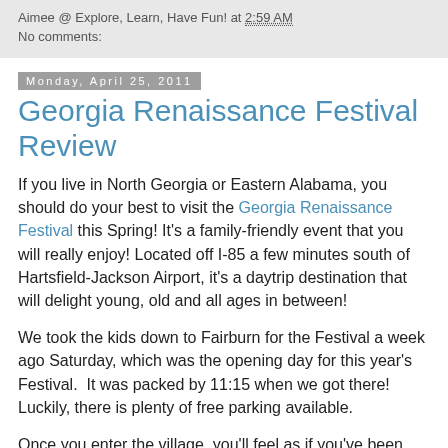Aimee @ Explore, Learn, Have Fun! at 2:59 AM
No comments:
Monday, April 25, 2011
Georgia Renaissance Festival Review
If you live in North Georgia or Eastern Alabama, you should do your best to visit the Georgia Renaissance Festival this Spring! It's a family-friendly event that you will really enjoy! Located off I-85 a few minutes south of Hartsfield-Jackson Airport, it's a daytrip destination that will delight young, old and all ages in between!
We took the kids down to Fairburn for the Festival a week ago Saturday, which was the opening day for this year's Festival.  It was packed by 11:15 when we got there! Luckily, there is plenty of free parking available.
Once you enter the village, you'll feel as if you've been transported back in time! Be on the lookout for pirates, wenches, wizards, knights, fair maidens, monks, kings and